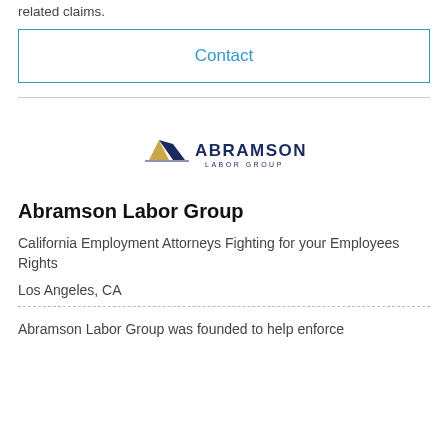related claims.
Contact
[Figure (logo): Abramson Labor Group logo with mountain/triangle icon and text 'ABRAMSON LABOR GROUP']
Abramson Labor Group
California Employment Attorneys Fighting for your Employees Rights
Los Angeles, CA
Abramson Labor Group was founded to help enforce